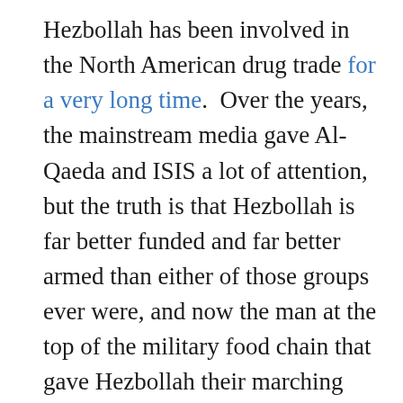Hezbollah has been involved in the North American drug trade for a very long time.  Over the years, the mainstream media gave Al-Qaeda and ISIS a lot of attention, but the truth is that Hezbollah is far better funded and far better armed than either of those groups ever were, and now the man at the top of the military food chain that gave Hezbollah their marching orders has been killed by the United States.  If Hezbollah sleeper cells are ever going to be unleashed in the United States, now is the time when it will happen.